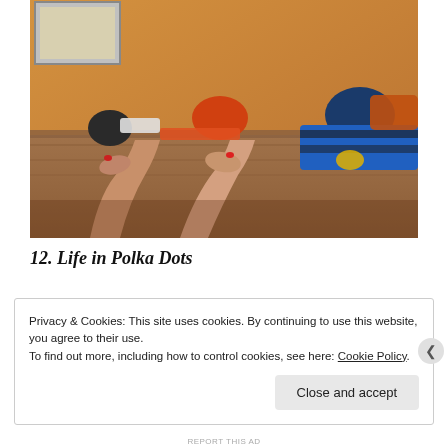[Figure (photo): People lying on a wooden floor with bags and towels, bare feet visible in foreground, warm orange-toned wall in background]
12. Life in Polka Dots
Privacy & Cookies: This site uses cookies. By continuing to use this website, you agree to their use.
To find out more, including how to control cookies, see here: Cookie Policy
Close and accept